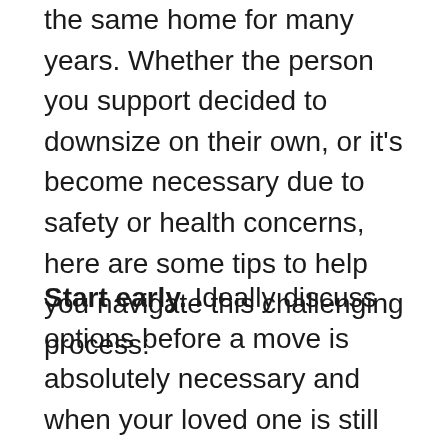the same home for many years. Whether the person you support decided to downsize on their own, or it's become necessary due to safety or health concerns, here are some tips to help you navigate this challenging process:
Start early. Ideally discuss options before a move is absolutely necessary and when your loved one is still in good health. Highlight the ways moving or decluttering would be